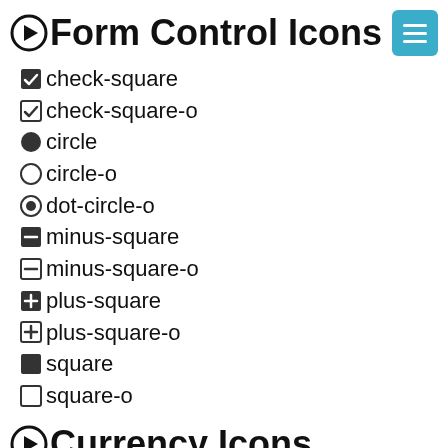Form Control Icons
check-square
check-square-o
circle
circle-o
dot-circle-o
minus-square
minus-square-o
plus-square
plus-square-o
square
square-o
Currency Icons
bitcoin (alias)